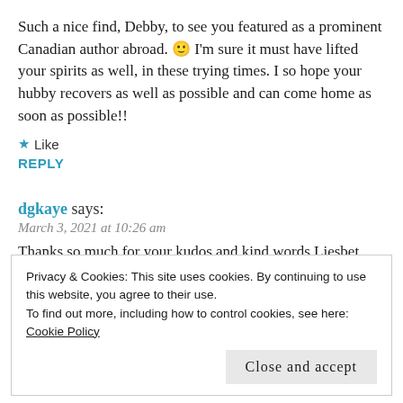Such a nice find, Debby, to see you featured as a prominent Canadian author abroad. 🙂 I'm sure it must have lifted your spirits as well, in these trying times. I so hope your hubby recovers as well as possible and can come home as soon as possible!!
★ Like
REPLY
dgkaye says:
March 3, 2021 at 10:26 am
Thanks so much for your kudos and kind words Liesbet. Hubby came home on the weekend – with a long way to go. ❤
Privacy & Cookies: This site uses cookies. By continuing to use this website, you agree to their use. To find out more, including how to control cookies, see here: Cookie Policy
Close and accept